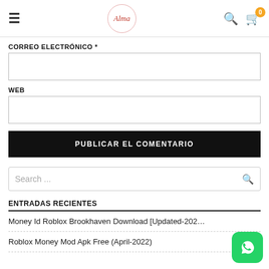Alma — navigation header with hamburger menu, logo, search icon, cart (0)
CORREO ELECTRONICO *
[email input field]
WEB
[web input field]
PUBLICAR EL COMENTARIO
Search ...
ENTRADAS RECIENTES
Money Id Roblox Brookhaven Download [Updated-202…
Roblox Money Mod Apk Free (April-2022)